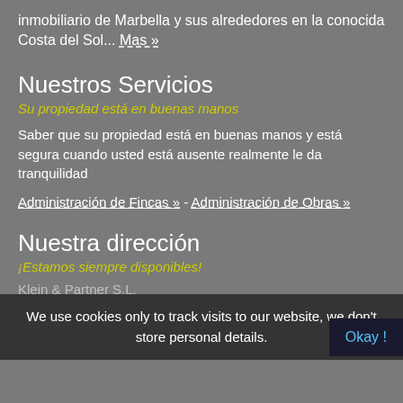inmobiliario de Marbella y sus alrededores en la conocida Costa del Sol... Mas »
Nuestros Servicios
Su propiedad está en buenas manos
Saber que su propiedad está en buenas manos y está segura cuando usted está ausente realmente le da tranquilidad
Administración de Fincas » - Administración de Obras »
Nuestra dirección
¡Estamos siempre disponibles!
Klein & Partner S.L.
Urb. Coral Beach
Marbella, Malaga 29602, Spain
We use cookies only to track visits to our website, we don't store personal details.